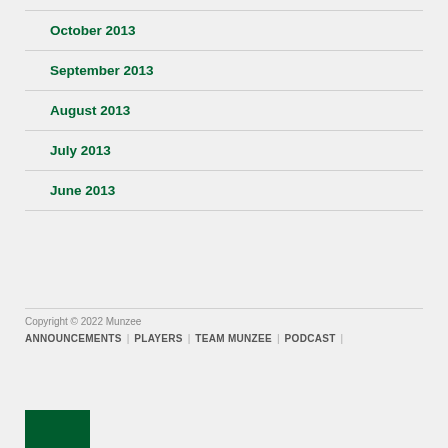October 2013
September 2013
August 2013
July 2013
June 2013
Copyright © 2022 Munzee | ANNOUNCEMENTS | PLAYERS | TEAM MUNZEE | PODCAST |